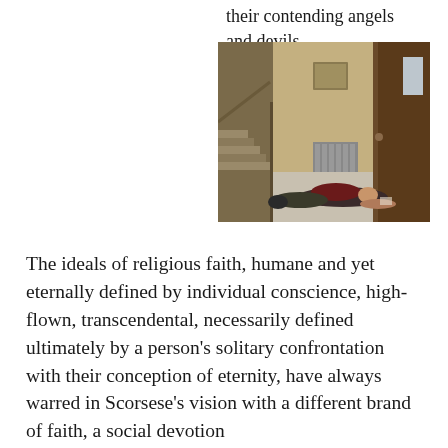their contending angels and devils.
[Figure (photo): A person lying face-down on the floor of a dimly lit interior room, with stairs visible on the left, an old radiator in the background, and a dark wooden door on the right.]
The ideals of religious faith, humane and yet eternally defined by individual conscience, high-flown, transcendental, necessarily defined ultimately by a person's solitary confrontation with their conception of eternity, have always warred in Scorsese's vision with a different brand of faith, a social devotion